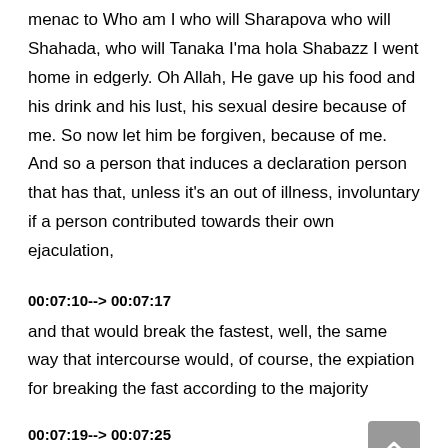menac to Who am I who will Sharapova who will Shahada, who will Tanaka I'ma hola Shabazz I went home in edgerly. Oh Allah, He gave up his food and his drink and his lust, his sexual desire because of me. So now let him be forgiven, because of me. And so a person that induces a declaration person that has that, unless it's an out of illness, involuntary if a person contributed towards their own ejaculation,
00:07:10--> 00:07:17
and that would break the fastest, well, the same way that intercourse would, of course, the expiation for breaking the fast according to the majority
00:07:19--> 00:07:25
would be different for would be different for breaking it by way of